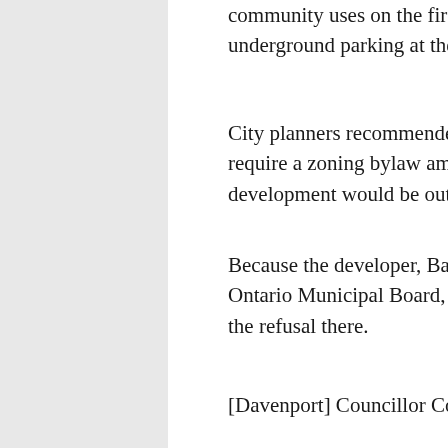community uses on the first two levels. It would underground parking at the 1181 Queen Street W
City planners recommended against approval of require a zoning bylaw amendment due to its he development would be out of character with the
Because the developer, Baywood Homes, has alr Ontario Municipal Board, the refusal turned into the refusal there.
[Davenport] Councillor Councillor Ana Balaio sai
“We don’t see this as a highrise site,” said Bailao. looking at this site from my view. We’re looking n the Gladstone that fits in with the Gladstone. It is
That stretch of Queen Street West will be underg behest of Bailao, Parkdale-High Park Councillor C